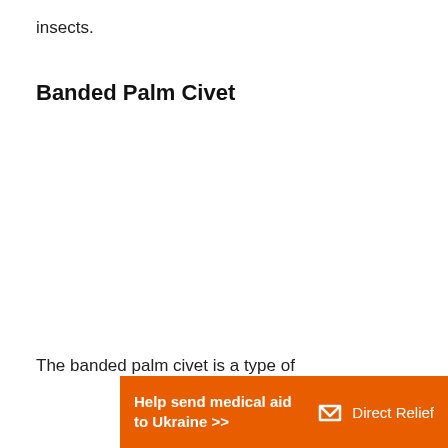insects.
Banded Palm Civet
The banded palm civet is a type of
[Figure (other): Orange advertisement banner for Direct Relief: 'Help send medical aid to Ukraine >>' with Direct Relief logo on the right.]